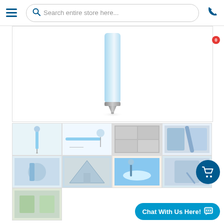Search entire store here...
[Figure (photo): A light blue pen shown vertically, tip pointing down, with a silver metal tip, on a white background.]
[Figure (photo): Thumbnail grid of product images showing the pen in various contexts: pen with character topper, technical diagram, students using pens, product packaging, lifestyle photos, outdoor illustration, and hand holding pen.]